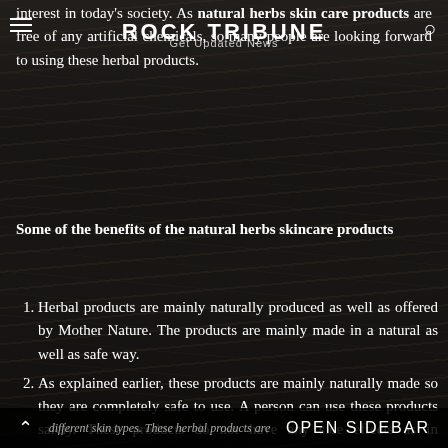ROCK TRIBUNE
Get Updated News
interest in today's society. As natural herbs skin care products are free of any artificial chemicals, so many people are looking forward to using these herbal products.
Some of the benefits of the natural herbs skincare products
Herbal products are mainly naturally produced as well as offered by Mother Nature. The products are mainly made in a natural as well as safe way.
As explained earlier, these products are mainly naturally made so they are completely safe to use. A person can use these products safely. These products do not have any side effects as in comparison to some other products that might include some percentage of the chemical base.
These natural products are mainly suitable for different skin types. These herbal products are
OPEN SIDEBAR